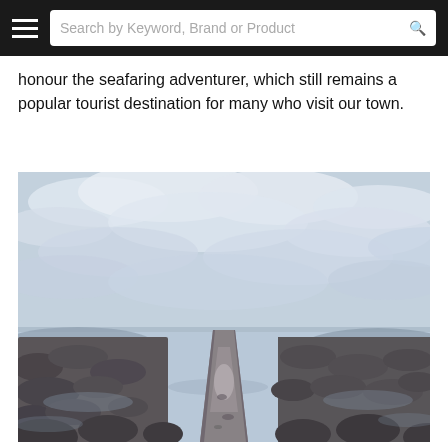Search by Keyword, Brand or Product
honour the seafaring adventurer, which still remains a popular tourist destination for many who visit our town.
[Figure (photo): A wet concrete pathway extending into the distance between rocky shores and shallow water, with an overcast cloudy sky above.]